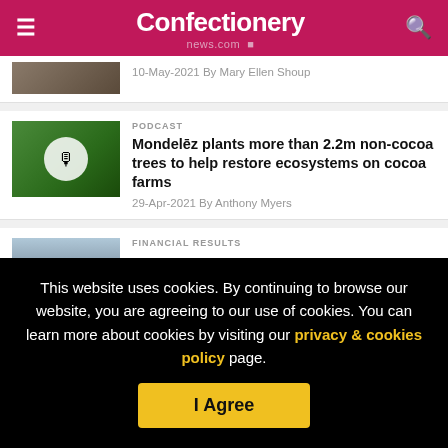Confectionery news.com
10-May-2021 By Mary Ellen Shoup
PODCAST
Mondelēz plants more than 2.2m non-cocoa trees to help restore ecosystems on cocoa farms
29-Apr-2021 By Anthony Myers
FINANCIAL RESULTS
This website uses cookies. By continuing to browse our website, you are agreeing to our use of cookies. You can learn more about cookies by visiting our privacy & cookies policy page.